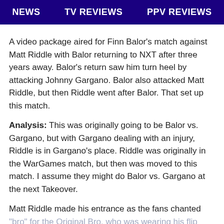NEWS   TV REVIEWS   PPV REVIEWS
A video package aired for Finn Balor’s match against Matt Riddle with Balor returning to NXT after three years away. Balor’s return saw him turn heel by attacking Johnny Gargano. Balor also attacked Matt Riddle, but then Riddle went after Balor. That set up this match.
Analysis: This was originally going to be Balor vs. Gargano, but with Gargano dealing with an injury, Riddle is in Gargano’s place. Riddle was originally in the WarGames match, but then was moved to this match. I assume they might do Balor vs. Gargano at the next Takeover.
Matt Riddle made his entrance as the fans chanted “bro” for the Original Bro, who was wearing his flip flops on the way to the ring. Riddle hugged his wife